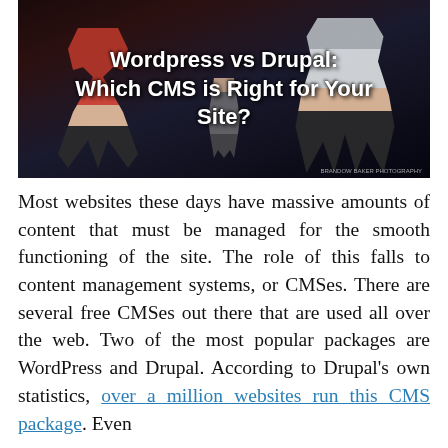[Figure (photo): Two Muay Thai / MMA fighters squaring off with a referee in the background, on a dark arena background. White bold text overlay reads: 'Wordpress vs Drupal: Which CMS is Right for Your Site?']
Most websites these days have massive amounts of content that must be managed for the smooth functioning of the site. The role of this falls to content management systems, or CMSes. There are several free CMSes out there that are used all over the web. Two of the most popular packages are WordPress and Drupal. According to Drupal's own statistics, over a million websites run this CMS package. Even more interesting, Drupal is one of the oldest...